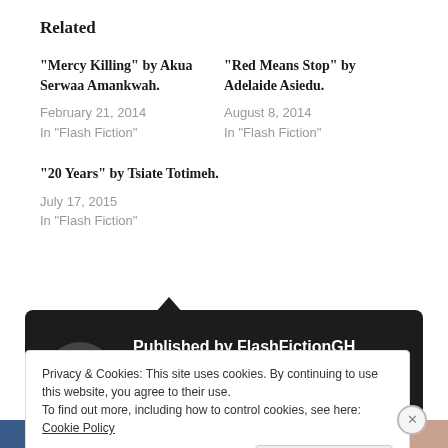Related
“Mercy Killing” by Akua Serwaa Amankwah.
February 21, 2014
In “Flash Fiction”
“Red Means Stop” by Adelaide Asiedu.
August 8, 2014
In “Flash Fiction”
“20 Years” by Tsiate Totimeh.
July 17, 2015
In “Flash Fiction”
[Figure (other): Dark publisher card with avatar showing 'Published by FlashFictionGH' and subtitle 'Bringing you Flash Fiction stories,']
Privacy & Cookies: This site uses cookies. By continuing to use this website, you agree to their use.
To find out more, including how to control cookies, see here: Cookie Policy
Close and accept